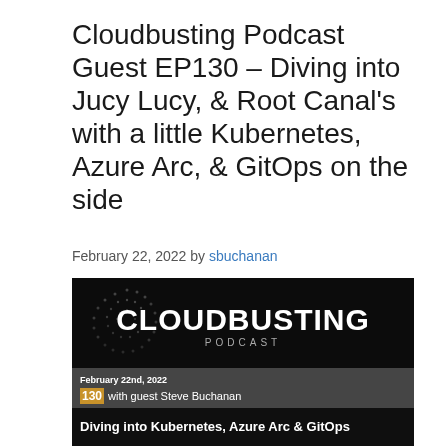Cloudbusting Podcast Guest EP130 – Diving into Jucy Lucy, & Root Canal's with a little Kubernetes, Azure Arc, & GitOps on the side
February 22, 2022 by sbuchanan
[Figure (photo): Cloudbusting Podcast promotional image with dark background, dotted sphere logo, large white CLOUDBUSTING PODCAST text, and overlay bar showing 'February 22nd, 2022', episode 130 with guest Steve Buchanan, and subtitle 'Diving into Kubernetes, Azure Arc & GitOps']